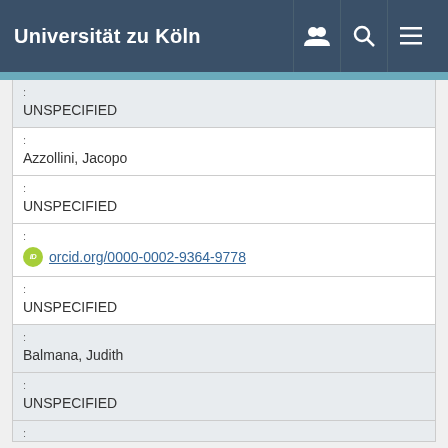Universität zu Köln
| : | UNSPECIFIED |
| : | Azzollini, Jacopo |
| : | UNSPECIFIED |
| : | orcid.org/0000-0002-9364-9778 |
| : | UNSPECIFIED |
| : | Balmana, Judith |
| : | UNSPECIFIED |
| : |  |